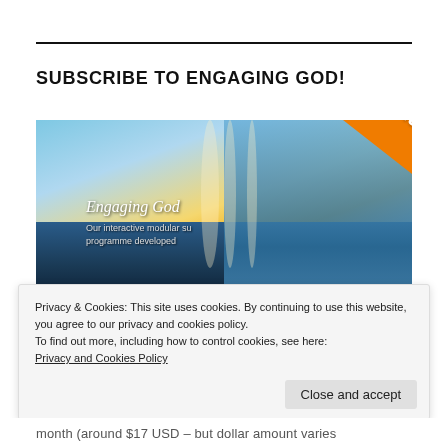SUBSCRIBE TO ENGAGING GOD!
[Figure (screenshot): Screenshot of the 'Engaging God' website with an orange diagonal banner reading 'FREE two-week trial' overlaid on a scenic background image showing sky, landscape and waterfall]
Privacy & Cookies: This site uses cookies. By continuing to use this website, you agree to our privacy and cookies policy. To find out more, including how to control cookies, see here: Privacy and Cookies Policy
month (around $17 USD – but dollar amount varies